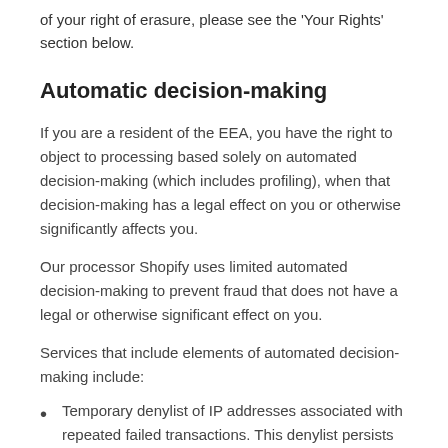of your right of erasure, please see the 'Your Rights' section below.
Automatic decision-making
If you are a resident of the EEA, you have the right to object to processing based solely on automated decision-making (which includes profiling), when that decision-making has a legal effect on you or otherwise significantly affects you.
Our processor Shopify uses limited automated decision-making to prevent fraud that does not have a legal or otherwise significant effect on you.
Services that include elements of automated decision-making include:
Temporary denylist of IP addresses associated with repeated failed transactions. This denylist persists for a